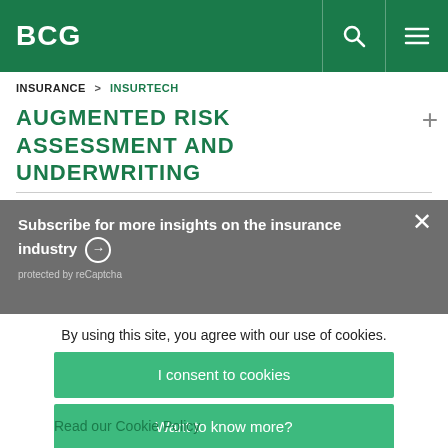BCG
INSURANCE > INSURTECH
AUGMENTED RISK ASSESSMENT AND UNDERWRITING
Subscribe for more insights on the insurance industry ➔
protected by reCaptcha
By using this site, you agree with our use of cookies.
I consent to cookies
Want to know more?
Read our Cookie Policy